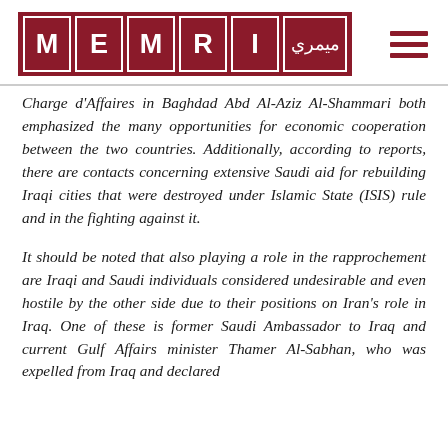[Figure (logo): MEMRI logo in dark red/maroon with individual letter boxes and Arabic text box]
Charge d'Affaires in Baghdad Abd Al-Aziz Al-Shammari both emphasized the many opportunities for economic cooperation between the two countries. Additionally, according to reports, there are contacts concerning extensive Saudi aid for rebuilding Iraqi cities that were destroyed under Islamic State (ISIS) rule and in the fighting against it.
It should be noted that also playing a role in the rapprochement are Iraqi and Saudi individuals considered undesirable and even hostile by the other side due to their positions on Iran's role in Iraq. One of these is former Saudi Ambassador to Iraq and current Gulf Affairs minister Thamer Al-Sabhan, who was expelled from Iraq and declared